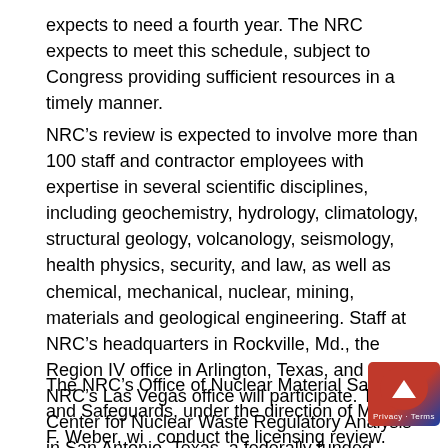expects to need a fourth year. The NRC expects to meet this schedule, subject to Congress providing sufficient resources in a timely manner.
NRC’s review is expected to involve more than 100 staff and contractor employees with expertise in several scientific disciplines, including geochemistry, hydrology, climatology, structural geology, volcanology, seismology, health physics, security, and law, as well as chemical, mechanical, nuclear, mining, materials and geological engineering. Staff at NRC’s headquarters in Rockville, Md., the Region IV office in Arlington, Texas, and the NRC’s Las Vegas office will participate. The Center for Nuclear Waste Regulatory Analysis in San Antonio, Texas, a federally funded research and development center, will provide technical assistance to the NRC.
The NRC’s Office of Nuclear Material Safety and Safeguards, under the direction of Michael F. Weber, will conduct the licensing review. Within that office, the Division of